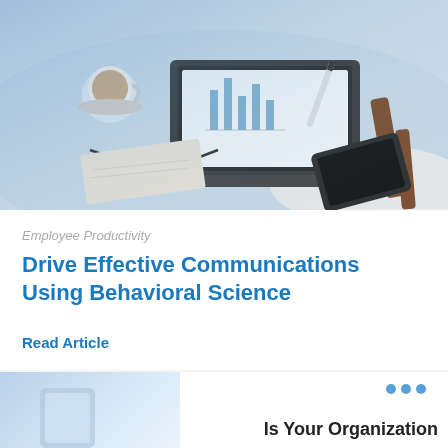[Figure (photo): Overhead/aerial view of a desk scene: open laptop showing a document/chart, coffee cup on saucer, eyeglasses resting on a notebook, a pen, a tablet, and a wooden chair leg with a rug visible. The image has a blue gradient tint overlay.]
Employee Productivity
Drive Effective Communications Using Behavioral Science
Read Article
[Figure (photo): Partial view of a second article card with a light blue background and a device/phone visible. Three blue dots in the upper right as a navigation indicator.]
Is Your Organization